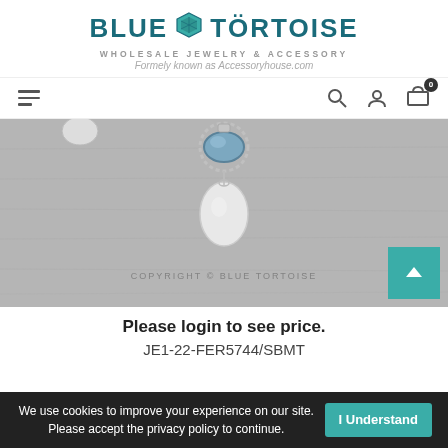[Figure (logo): Blue Tortoise Wholesale Jewelry & Accessory logo with teal tortoise shell icon between BLUE and TORTOISE text]
WHOLESALE JEWELRY & ACCESSORY
Formely known as Accessoryhouse.com
[Figure (screenshot): Navigation bar with hamburger menu icon on left and search, user, cart icons on right with 0 badge on cart]
[Figure (photo): Close-up photo of jewelry piece on gray background - appears to be a pendant with blue stone and teardrop charm. COPYRIGHT © BLUE TORTOISE watermark visible.]
Please login to see price.
JE1-22-FER5744/SBMT
We use cookies to improve your experience on our site. Please accept the privacy policy to continue.